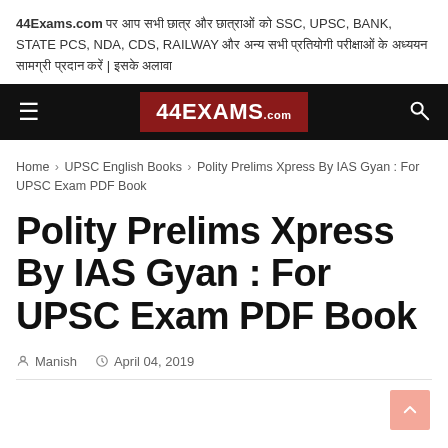44Exams.com पर आप सभी छात्र और छात्राओं को SSC, UPSC, BANK, STATE PCS, NDA, CDS, RAILWAY और अन्य सभी प्रतियोगी परीक्षाओं के अध्ययन सामग्री प्रदान करें | इसके अलावा
[Figure (logo): 44EXAMS.com navigation bar with hamburger menu on left, red logo in center, search icon on right]
Home › UPSC English Books › Polity Prelims Xpress By IAS Gyan : For UPSC Exam PDF Book
Polity Prelims Xpress By IAS Gyan : For UPSC Exam PDF Book
Manish  April 04, 2019